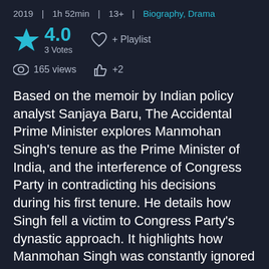2019 | 1h 52min | 13+ | Biography, Drama
4.0
3 Votes
+ Playlist
165 views  +2
Based on the memoir by Indian policy analyst Sanjaya Baru, The Accidental Prime Minister explores Manmohan Singh's tenure as the Prime Minister of India, and the interference of Congress Party in contradicting his decisions during his first tenure. He details how Singh fell a victim to Congress Party's dynastic approach. It highlights how Manmohan Singh was constantly ignored by Congress to maintain turf for Rahul Gandhi, the son of Sonia Gandhi